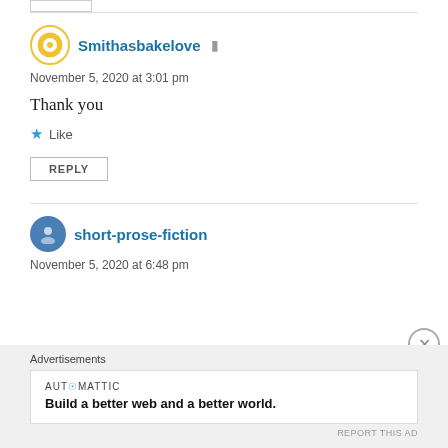Smithasbakelove
November 5, 2020 at 3:01 pm
Thank you
Like
REPLY
short-prose-fiction
November 5, 2020 at 6:48 pm
Advertisements
AUTOMATTIC
Build a better web and a better world.